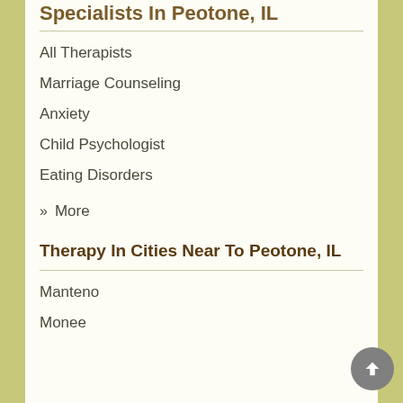Specialists In Peotone, IL
All Therapists
Marriage Counseling
Anxiety
Child Psychologist
Eating Disorders
» More
Therapy In Cities Near To Peotone, IL
Manteno
Monee